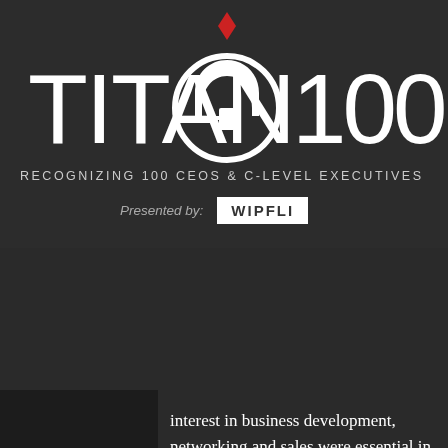[Figure (logo): Titan 100 logo with Spartan helmet and '100' text in white on dark background]
RECOGNIZING 100 CEOs & C-LEVEL EXECUTIVES
Presented by: WIPFLI
interest in business development, networking and sales were essential in my development and growth at NFT, and in business.”
Wickland now serves as the CEO and President of NFT, an environmental cleanup, manufacturing, and radioactive materials packaging company. “I love the combination of leading a business dedicated to environmental remediation while making people safer and our planet cleaner,” said Wickland.
According to Wickland, one of the things